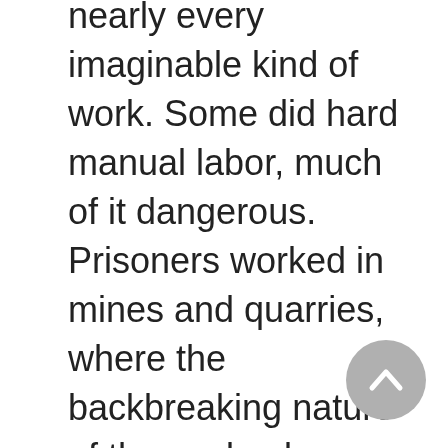nearly every imaginable kind of work. Some did hard manual labor, much of it dangerous. Prisoners worked in mines and quarries, where the backbreaking nature of the work, plus factors such as stone dust, accidents, and other hardships of life in the camps quickly destroyed their health. Others worked in construction, demolition, rubble clearance, or even bomb disposal, which entailed similar hazards. Some did agricultural work, which, although hard, offered